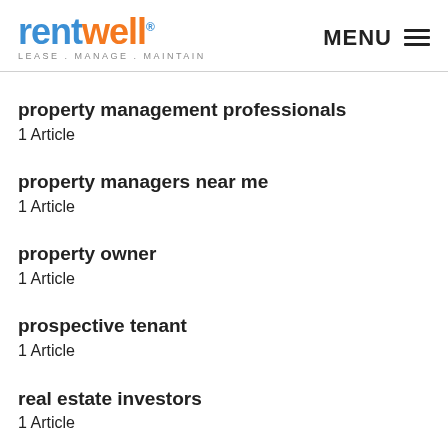rentwell LEASE . MANAGE . MAINTAIN | MENU
property management professionals
1 Article
property managers near me
1 Article
property owner
1 Article
prospective tenant
1 Article
real estate investors
1 Article